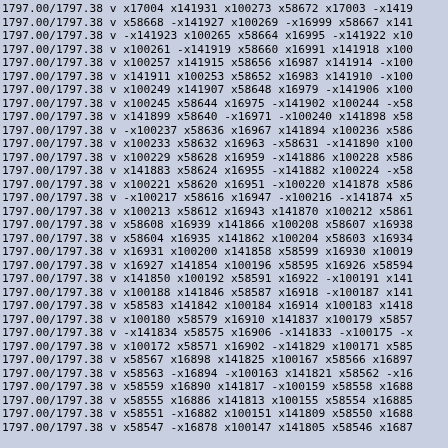1797.00/1797.38 v x17004 x141931 x100273 x58672 x17003 -x1419
1797.00/1797.38 v x58668 -x141927 x100269 -x16999 x58667 x141
1797.00/1797.38 v -x141923 x100265 x58664 x16995 -x141922 x10
1797.00/1797.38 v x100261 -x141919 x58660 x16991 x141918 x100
1797.00/1797.38 v x100257 x141915 x58656 x16987 x141914 -x100
1797.00/1797.38 v x141911 x100253 x58652 x16983 x141910 -x100
1797.00/1797.38 v x100249 x141907 x58648 x16979 -x141906 x100
1797.00/1797.38 v x100245 x58644 x16975 -x141902 x100244 -x58
1797.00/1797.38 v x141899 x58640 -x16971 -x100240 x141898 x58
1797.00/1797.38 v -x100237 x58636 x16967 x141894 x100236 x586
1797.00/1797.38 v x100233 x58632 x16963 -x58631 -x141890 x100
1797.00/1797.38 v x100229 x58628 x16959 -x141886 x100228 x586
1797.00/1797.38 v x141883 x58624 x16955 -x141882 x100224 -x58
1797.00/1797.38 v x100221 x58620 x16951 -x100220 x141878 x586
1797.00/1797.38 v -x100217 x58616 x16947 -x100216 -x141874 x5
1797.00/1797.38 v x100213 x58612 x16943 x141870 x100212 x5861
1797.00/1797.38 v x58608 x16939 x141866 x100208 x58607 x16938
1797.00/1797.38 v x58604 x16935 x141862 x100204 x58603 x16934
1797.00/1797.38 v x16931 x100200 x141858 x58599 x16930 x10019
1797.00/1797.38 v x16927 x141854 x100196 x58595 x16926 x58594
1797.00/1797.38 v x141850 x100192 x58591 x16922 -x100191 x141
1797.00/1797.38 v x100188 x141846 x58587 x16918 -x100187 x141
1797.00/1797.38 v x58583 x141842 x100184 x16914 x100183 x1418
1797.00/1797.38 v x100180 x58579 x16910 x141837 x100179 x5857
1797.00/1797.38 v -x141834 x58575 x16906 -x141833 -x100175 -x
1797.00/1797.38 v x100172 x58571 x16902 -x141829 x100171 x585
1797.00/1797.38 v x58567 x16898 x141825 x100167 x58566 x16897
1797.00/1797.38 v x58563 -x16894 -x100163 x141821 x58562 -x16
1797.00/1797.38 v x58559 x16890 x141817 -x100159 x58558 x1688
1797.00/1797.38 v x58555 x16886 x141813 x100155 x58554 x16885
1797.00/1797.38 v x58551 -x16882 x100151 x141809 x58550 x1688
1797.00/1797.38 v x58547 -x16878 x100147 x141805 x58546 x1687